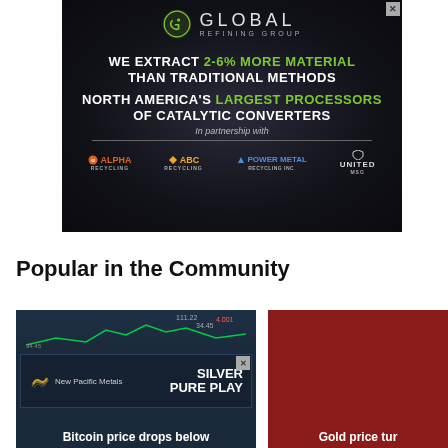[Figure (illustration): Global Refining Group advertisement on dark metallic background. Headline: WE EXTRACT 2-6% MORE MATERIAL THAN TRADITIONAL METHODS. NORTH AMERICA'S LARGEST PROCESSORS OF CATALYTIC CONVERTERS. In partnership with. Partner logos: Alpha Recycling, ABC Recycling, Power Metal Recycling Inc, United MSG.]
Popular in the Community
[Figure (screenshot): Bitcoin price thumbnail image with stock chart overlay and New Pacific Metals SILVER PURE PLAY advertisement overlay. Caption: Bitcoin price drops below]
[Figure (screenshot): Red-background thumbnail image. Caption: Gold price tur]